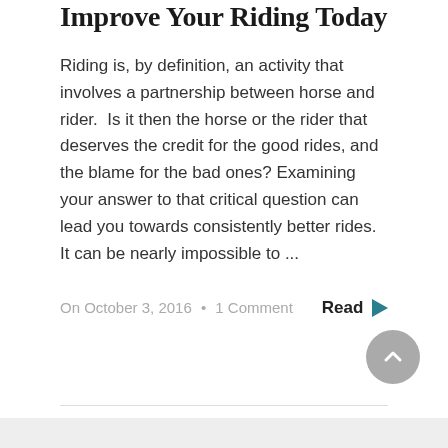Improve Your Riding Today
Riding is, by definition, an activity that involves a partnership between horse and rider.  Is it then the horse or the rider that deserves the credit for the good rides, and the blame for the bad ones? Examining your answer to that critical question can lead you towards consistently better rides. It can be nearly impossible to ...
On October 3, 2016 • 1 Comment   Read ▶